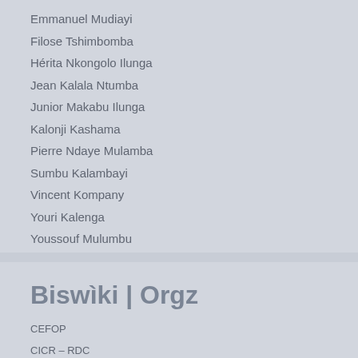Emmanuel Mudiayi
Filose Tshimbomba
Hérita Nkongolo Ilunga
Jean Kalala Ntumba
Junior Makabu Ilunga
Kalonji Kashama
Pierre Ndaye Mulamba
Sumbu Kalambayi
Vincent Kompany
Youri Kalenga
Youssouf Mulumbu
Biswìki | Orgz
CEFOP
CICR – RDC